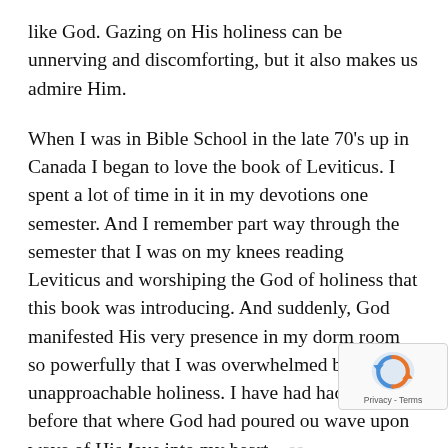like God. Gazing on His holiness can be unnerving and discomforting, but it also makes us admire Him.
When I was in Bible School in the late 70's up in Canada I began to love the book of Leviticus. I spent a lot of time in it in my devotions one semester. And I remember part way through the semester that I was on my knees reading Leviticus and worshiping the God of holiness that this book was introducing. And suddenly, God manifested His very presence in my dorm room so powerfully that I was overwhelmed by His unapproachable holiness. I have had had times before that where God had poured ou wave upon wave of His love into my heart – so